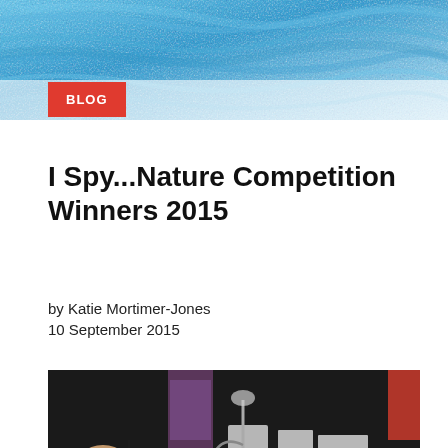[Figure (photo): Abstract blue textured background — appears to be a crayon or watercolor texture in blue tones, used as a decorative header image.]
BLOG
I Spy...Nature Competition Winners 2015
by Katie Mortimer-Jones
10 September 2015
[Figure (photo): A photograph showing children and adults at a nature exhibition or competition table. A child is leaning over a black table covered with nature specimens, minerals, papers, and display materials. People are gathered around examining the items.]